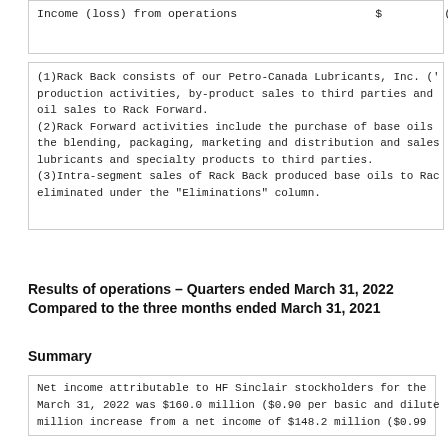| Income (loss) from operations | $ | (1,755) |
(1)Rack Back consists of our Petro-Canada Lubricants, Inc. ('production activities, by-product sales to third parties and oil sales to Rack Forward.
(2)Rack Forward activities include the purchase of base oils the blending, packaging, marketing and distribution and sales lubricants and specialty products to third parties.
(3)Intra-segment sales of Rack Back produced base oils to Rac eliminated under the "Eliminations" column.
Results of operations – Quarters ended March 31, 2022 Compared to the three months ended March 31, 2021
Summary
Net income attributable to HF Sinclair stockholders for the March 31, 2022 was $160.0 million ($0.90 per basic and diluted million increase from a net income of $148.2 million ($0.99 ...